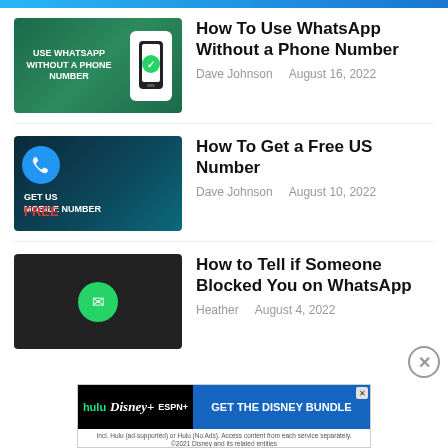[Figure (screenshot): Thumbnail for WhatsApp article — dark green background with 'USE WHATSAPP WITHOUT A PHONE NUMBER' text and phone graphic]
How To Use WhatsApp Without a Phone Number
Dave Johnson   August 16, 2022
[Figure (screenshot): Thumbnail for Free US Number article — dark blue background with blue circle phone icon, 'GET US MOBILE NUMBER' text and 'FREE' in red]
How To Get a Free US Number
Dave Johnson   August 10, 2022
[Figure (screenshot): Thumbnail for WhatsApp blocked article — dark background with hand holding phone showing WhatsApp icon]
How to Tell if Someone Blocked You on WhatsApp
Heather   August 4, 2022
[Figure (screenshot): Advertisement banner — Hulu, Disney+, ESPN+ logos on black background, 'GET THE DISNEY BUNDLE' on blue background, fine print below]